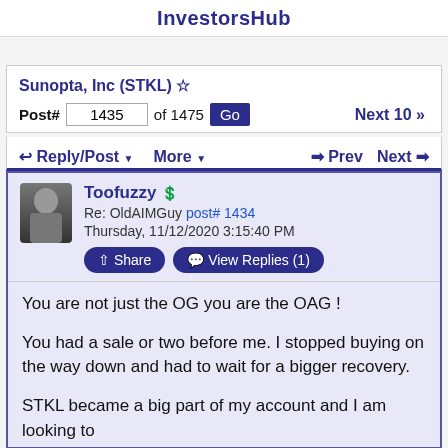InvestorsHub
Sunopta, Inc (STKL)
Post# 1435 of 1475 Go  Next 10 >>
Reply/Post ▼  More ▼  ← Prev  Next →
Toofuzzy
Re: OldAIMGuy post# 1434
Thursday, 11/12/2020 3:15:40 PM
You are not just the OG you are the OAG !
You had a sale or two before me. I stopped buying on the way down and had to wait for a bigger recovery.
STKL became a big part of my account and I am looking to